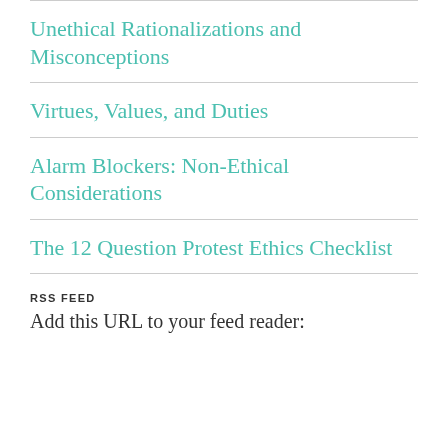Unethical Rationalizations and Misconceptions
Virtues, Values, and Duties
Alarm Blockers: Non-Ethical Considerations
The 12 Question Protest Ethics Checklist
RSS FEED
Add this URL to your feed reader: